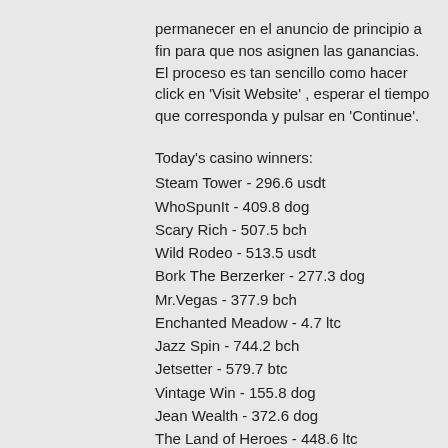permanecer en el anuncio de principio a fin para que nos asignen las ganancias. El proceso es tan sencillo como hacer click en 'Visit Website' , esperar el tiempo que corresponda y pulsar en 'Continue'.
Today's casino winners:
Steam Tower - 296.6 usdt
WhoSpunIt - 409.8 dog
Scary Rich - 507.5 bch
Wild Rodeo - 513.5 usdt
Bork The Berzerker - 277.3 dog
Mr.Vegas - 377.9 bch
Enchanted Meadow - 4.7 ltc
Jazz Spin - 744.2 bch
Jetsetter - 579.7 btc
Vintage Win - 155.8 dog
Jean Wealth - 372.6 dog
The Land of Heroes - 448.6 ltc
Xmas Joker - 261.4 btc
Bell Wizard - 87 usdt